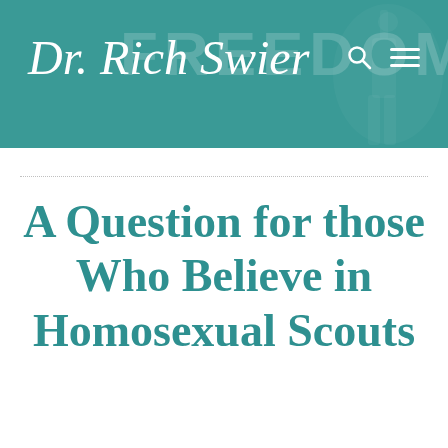Dr. Rich Swier
A Question for those Who Believe in Homosexual Scouts